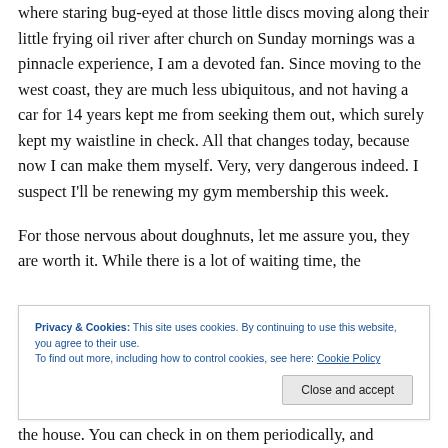where staring bug-eyed at those little discs moving along their little frying oil river after church on Sunday mornings was a pinnacle experience, I am a devoted fan. Since moving to the west coast, they are much less ubiquitous, and not having a car for 14 years kept me from seeking them out, which surely kept my waistline in check. All that changes today, because now I can make them myself. Very, very dangerous indeed. I suspect I'll be renewing my gym membership this week.
For those nervous about doughnuts, let me assure you, they are worth it. While there is a lot of waiting time, the
Privacy & Cookies: This site uses cookies. By continuing to use this website, you agree to their use.
To find out more, including how to control cookies, see here: Cookie Policy
the house. You can check in on them periodically, and